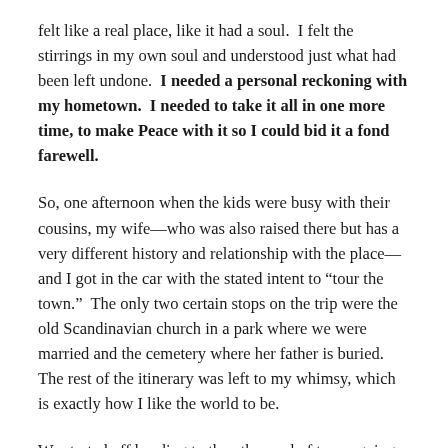felt like a real place, like it had a soul.  I felt the stirrings in my own soul and understood just what had been left undone.  I needed a personal reckoning with my hometown.  I needed to take it all in one more time, to make Peace with it so I could bid it a fond farewell.
So, one afternoon when the kids were busy with their cousins, my wife—who was also raised there but has a very different history and relationship with the place—and I got in the car with the stated intent to “tour the town.”  The only two certain stops on the trip were the old Scandinavian church in a park where we were married and the cemetery where her father is buried.  The rest of the itinerary was left to my whimsy, which is exactly how I like the world to be.
We started off heading to the other end of town, going past a couple of the houses she grew up in (unlike me, she bounced around town a bit), laughing about how small her elementary school looks now and how that walk that felt to